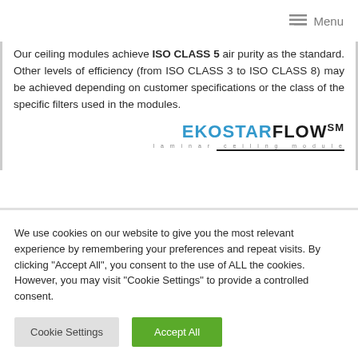Menu
Our ceiling modules achieve ISO CLASS 5 air purity as the standard. Other levels of efficiency (from ISO CLASS 3 to ISO CLASS 8) may be achieved depending on customer specifications or the class of the specific filters used in the modules.
[Figure (logo): EKOSTARFLOWSM laminar ceiling module logo with underline]
We use cookies on our website to give you the most relevant experience by remembering your preferences and repeat visits. By clicking "Accept All", you consent to the use of ALL the cookies. However, you may visit "Cookie Settings" to provide a controlled consent.
Cookie Settings | Accept All